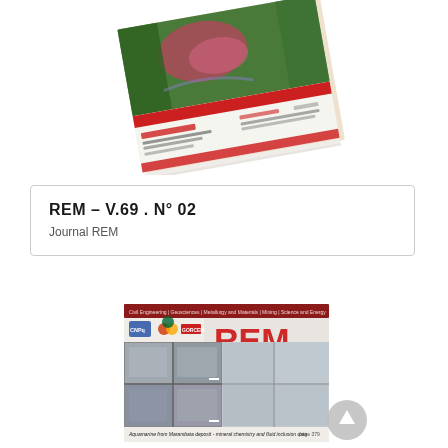[Figure (photo): A tilted/angled view of the REM journal cover showing an aerial photograph of what appears to be a mining area with reddish/pink colored mining operations surrounded by green forest. The cover has text overlays and is shown at an angle as if it's a physical magazine.]
REM – V.69 . N° 02
Journal REM
[Figure (photo): A view of another REM journal issue cover showing microscopy images (appears to be electron microscopy images arranged in a grid) of aquamarine mineral samples. The cover includes logos for CNPq and GORCEIX, the REM title in large red letters, and text about 'Aquamarine from Marambaia deposit - mineral chemistry and fluid inclusion data'. A circular scroll-to-top button is partially visible in the bottom right corner.]